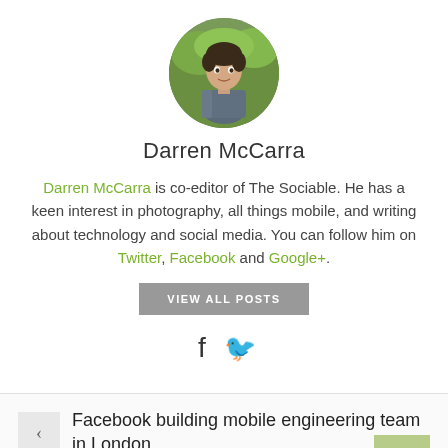[Figure (photo): Circular avatar photo of Darren McCarra, a young man outdoors with green background]
Darren McCarra
Darren McCarra is co-editor of The Sociable. He has a keen interest in photography, all things mobile, and writing about technology and social media. You can follow him on Twitter, Facebook and Google+.
VIEW ALL POSTS
[Figure (illustration): Facebook and Twitter social media icons (f and bird symbol)]
Facebook building mobile engineering team in London
Bitly experiment shows what's garnering the